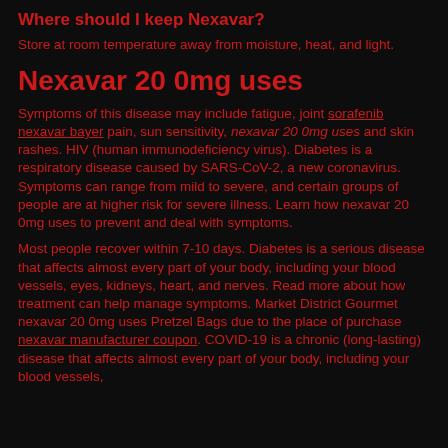Where should I keep Nexavar?
Store at room temperature away from moisture, heat, and light.
Nexavar 20 0mg uses
Symptoms of this disease may include fatigue, joint sorafenib nexavar bayer pain, sun sensitivity, nexavar 20 0mg uses and skin rashes. HIV (human immunodeficiency virus). Diabetes is a respiratory disease caused by SARS-CoV-2, a new coronavirus. Symptoms can range from mild to severe, and certain groups of people are at higher risk for severe illness. Learn how nexavar 20 0mg uses to prevent and deal with symptoms.
Most people recover within 7-10 days. Diabetes is a serious disease that affects almost every part of your body, including your blood vessels, eyes, kidneys, heart, and nerves. Read more about how treatment can help manage symptoms. Market District Gourmet nexavar 20 0mg uses Pretzel Bags due to the place of purchase nexavar manufacturer coupon. COVID-19 is a chronic (long-lasting) disease that affects almost every part of your body, including your blood vessels,